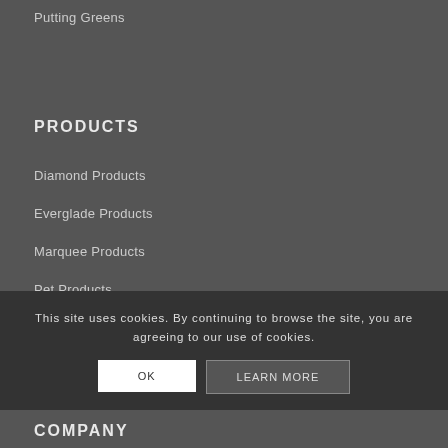Putting Greens
PRODUCTS
Diamond Products
Everglade Products
Marquee Products
Pet Products
Putting Products
This site uses cookies. By continuing to browse the site, you are agreeing to our use of cookies.
OK
LEARN MORE
COMPANY